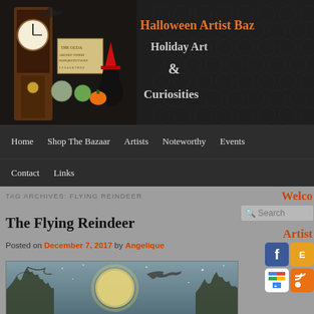[Figure (screenshot): Halloween Artist Bazaar website header with banner showing a grandfather clock, Ouija board, black cat in witch hat, and Halloween decorations. Title reads 'Halloween Artist Bazaar Holiday Art & Curiosities' in orange and grey text on dark background.]
Halloween Artist Baz... Holiday Art & Curiosities
Home  Shop The Bazaar  Artists  Noteworthy  Events
Contact  Links
TAG ARCHIVES: FLYING REINDEER
Welco...
Artist...
The Flying Reindeer
Posted on December 7, 2017 by Angelique
[Figure (illustration): Vintage illustration showing reindeer flying over a moonlit winter landscape with bare trees and a large full moon in the background, in blue-grey tones.]